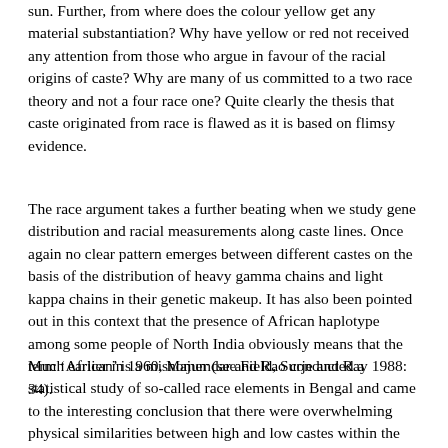sun. Further, from where does the colour yellow get any material substantiation? Why have yellow or red not received any attention from those who argue in favour of the racial origins of caste? Why are many of us committed to a two race theory and not a four race one? Quite clearly the thesis that caste originated from race is flawed as it is based on flimsy evidence.
The race argument takes a further beating when we study gene distribution and racial measurements along caste lines. Once again no clear pattern emerges between different castes on the basis of the distribution of heavy gamma chains and light kappa chains in their genetic makeup. It has also been pointed out in this context that the presence of African haplotype among some people of North India obviously means that the term ‘African’ is a misnomer (see Field, Surje and Ray 1988: 34).
Much earlier in 1960, Majumdar and Rao conducted a statistical study of so-called race elements in Bengal and came to the interesting conclusion that there were overwhelming physical similarities between high and low castes within the same geographical region. But the story was different between different